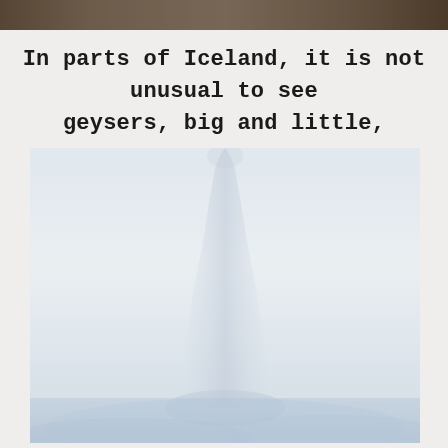[Figure (photo): Top strip photograph showing a landscape scene, cropped to a thin horizontal band at the top of the page.]
In parts of Iceland, it is not unusual to see geysers, big and little,
[Figure (photo): A misty, foggy photograph showing a large geyser plume rising into a white hazy sky, the steam column faintly visible against the pale background.]